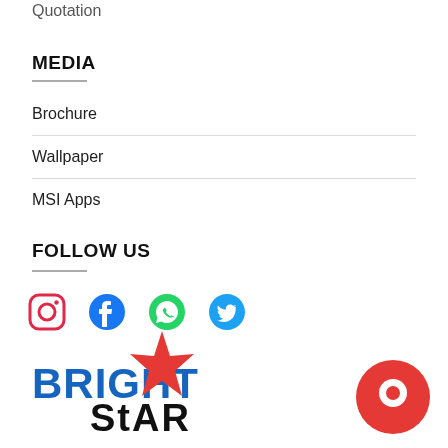Quotation
MEDIA
Brochure
Wallpaper
MSI Apps
FOLLOW US
[Figure (illustration): Social media icons: Instagram, Facebook, WhatsApp, Twitter]
[Figure (logo): Bright Star logo in blue and red]
[Figure (illustration): Orange chat bubble icon in bottom right]